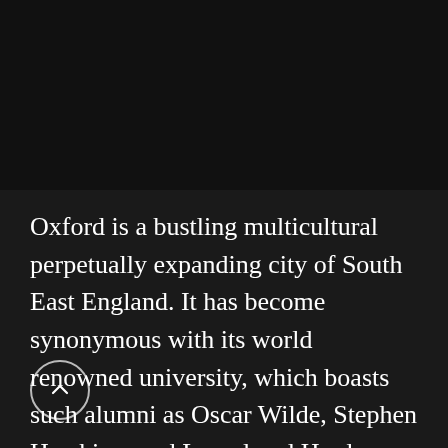[Figure (photo): Dark nighttime photograph, mostly black sky, located at the top of the page]
Oxford is a bustling multicultural perpetually expanding city of South East England. It has become synonymous with its world renowned university, which boasts such alumni as Oscar Wilde, Stephen Hawking, and Laurel and Hardy.
For those who take delight in the unknown, however, Oxford means something else entirely: ghosts. From Oxford Castle to Kassam Stadium,